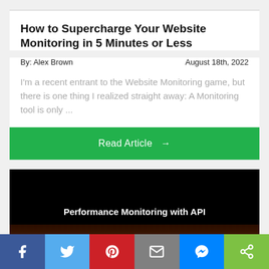How to Supercharge Your Website Monitoring in 5 Minutes or Less
By: Alex Brown
August 18th, 2022
I'm a recent entrant to the Website Monitoring game, but there is one thing I realized straight away: A Monitoring tool is only ...
Read Article →
[Figure (screenshot): Dark video thumbnail with white bold text reading 'Performance Monitoring with API' and a brownish bar at the bottom]
Facebook | Twitter | Pinterest | Email | Messenger | Share